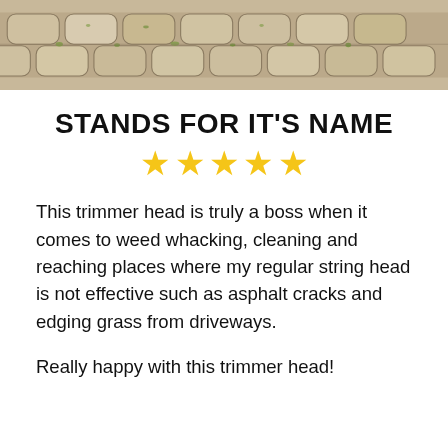[Figure (photo): Close-up photo of interlocking stone pavers/driveway blocks with moss/weeds in the gaps, cropped at top]
STANDS FOR IT'S NAME
[Figure (other): Five yellow star rating icons]
This trimmer head is truly a boss when it comes to weed whacking, cleaning and reaching places where my regular string head is not effective such as asphalt cracks and edging grass from driveways.

Really happy with this trimmer head!